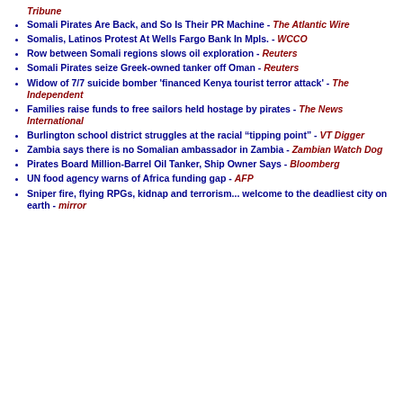Tribune
Somali Pirates Are Back, and So Is Their PR Machine - The Atlantic Wire
Somalis, Latinos Protest At Wells Fargo Bank In Mpls. - WCCO
Row between Somali regions slows oil exploration - Reuters
Somali Pirates seize Greek-owned tanker off Oman - Reuters
Widow of 7/7 suicide bomber 'financed Kenya tourist terror attack' - The Independent
Families raise funds to free sailors held hostage by pirates - The News International
Burlington school district struggles at the racial "tipping point" - VT Digger
Zambia says there is no Somalian ambassador in Zambia - Zambian Watch Dog
Pirates Board Million-Barrel Oil Tanker, Ship Owner Says - Bloomberg
UN food agency warns of Africa funding gap - AFP
Sniper fire, flying RPGs, kidnap and terrorism... welcome to the deadliest city on earth - mirror